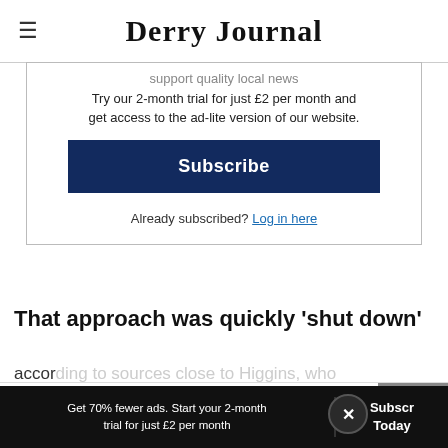Derry Journal
support quality local news
Try our 2-month trial for just £2 per month and get access to the ad-lite version of our website.
Subscribe
Already subscribed? Log in here
That approach was quickly 'shut down'
according to sources close to Higgins, who rema
[Figure (infographic): Wegmans advertisement: Snack Time Made Easy]
Get 70% fewer ads. Start your 2-month trial for just £2 per month
Subscribe Today